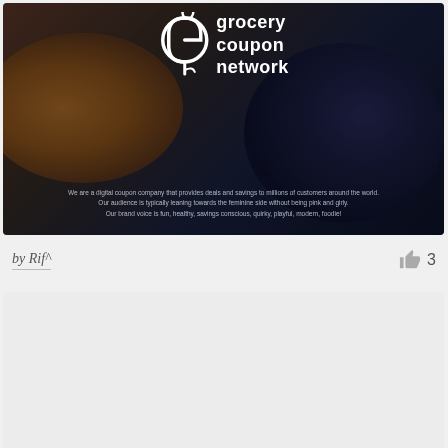[Figure (photo): Dark moody photo of corn/grapes with a Grocery Coupon Network logo overlay and descriptive tagline text at the bottom]
by Rif^
3
[Figure (photo): Light gray placeholder card/image at the bottom of the page]